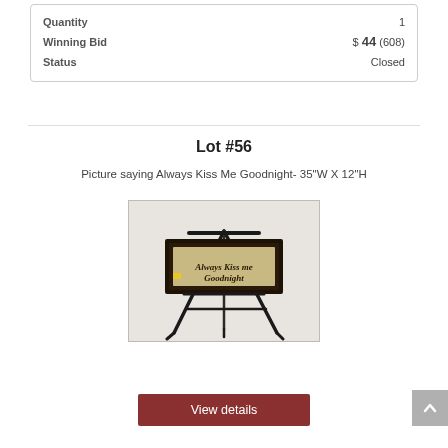| Field | Value |
| --- | --- |
| Quantity | 1 |
| Winning Bid | $ 44 (608) |
| Status | Closed |
Lot #56
Picture saying Always Kiss Me Goodnight- 35"W X 12"H
[Figure (photo): A framed picture on an easel that reads 'Always Kiss Me Goodnight' in cursive script on a burlap-colored background, with a dark wood frame.]
View details